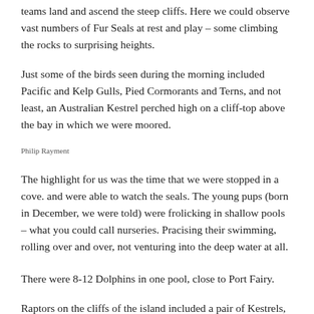teams land and ascend the steep cliffs. Here we could observe vast numbers of Fur Seals at rest and play – some climbing the rocks to surprising heights.
Just some of the birds seen during the morning included Pacific and Kelp Gulls, Pied Cormorants and Terns, and not least, an Australian Kestrel perched high on a cliff-top above the bay in which we were moored.
Philip Rayment
The highlight for us was the time that we were stopped in a cove. and were able to watch the seals. The young pups (born in December, we were told) were frolicking in shallow pools – what you could call nurseries. Pracising their swimming, rolling over and over, not venturing into the deep water at all.
There were 8-12 Dolphins in one pool, close to Port Fairy.
Raptors on the cliffs of the island included a pair of Kestrels, Brown